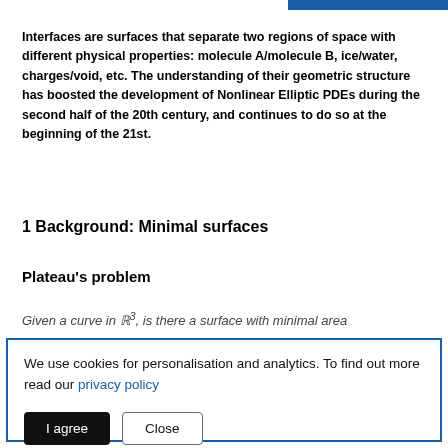Interfaces are surfaces that separate two regions of space with different physical properties: molecule A/molecule B, ice/water, charges/void, etc. The understanding of their geometric structure has boosted the development of Nonlinear Elliptic PDEs during the second half of the 20th century, and continues to do so at the beginning of the 21st.
1 Background: Minimal surfaces
Plateau’s problem
Given a curve in ℝ³, is there a surface with minimal area
We use cookies for personalisation and analytics. To find out more read our privacy policy
I agree   Close